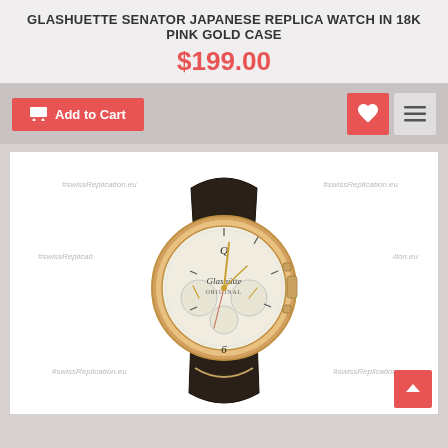GLASHUETTE SENATOR JAPANESE REPLICA WATCH IN 18K PINK GOLD CASE
$199.00
Add to Cart
[Figure (photo): Glashuette Senator chronograph replica watch with rose gold case, white dial with subdials, gold hands, and black leather strap. Multiple #swissReplication.eu watermarks overlaid on the image.]